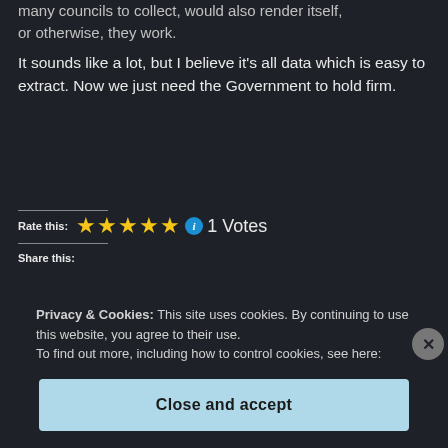many councils to collect, would also render itself, or otherwise, they work.
It sounds like a lot, but I believe it's all data which is easy to extract. Now we just need the Government to hold firm.
Rate this: ★★★★★ ⓘ 1 Votes
Share this:
Privacy & Cookies: This site uses cookies. By continuing to use this website, you agree to their use.
To find out more, including how to control cookies, see here:
Cookie Policy
Close and accept